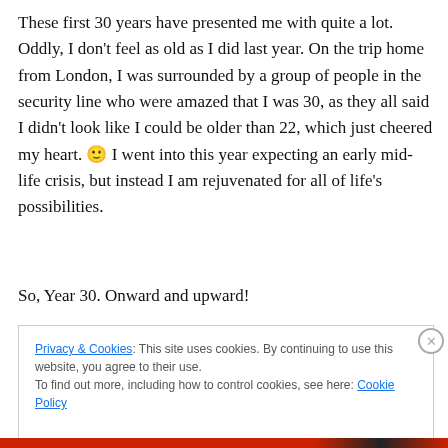These first 30 years have presented me with quite a lot. Oddly, I don't feel as old as I did last year. On the trip home from London, I was surrounded by a group of people in the security line who were amazed that I was 30, as they all said I didn't look like I could be older than 22, which just cheered my heart. 🙂 I went into this year expecting an early mid-life crisis, but instead I am rejuvenated for all of life's possibilities.
So, Year 30. Onward and upward!
Privacy & Cookies: This site uses cookies. By continuing to use this website, you agree to their use.
To find out more, including how to control cookies, see here: Cookie Policy